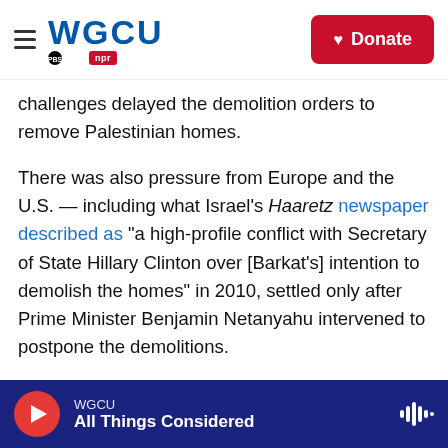WGCU PBS NPR — Donate
challenges delayed the demolition orders to remove Palestinian homes.
There was also pressure from Europe and the U.S. — including what Israel's Haaretz newspaper described as "a high-profile conflict with Secretary of State Hillary Clinton over [Barkat's] intention to demolish the homes" in 2010, settled only after Prime Minister Benjamin Netanyahu intervened to postpone the demolitions.
But Palestinian residents of al-Bustan saw last month's butcher shop demolition as a sign that the park plan had been revived and their homes could
WGCU — All Things Considered